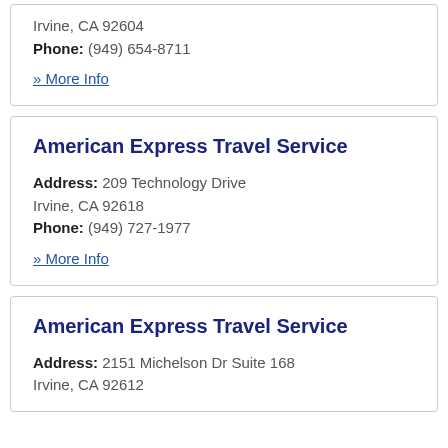Irvine, CA 92604
Phone: (949) 654-8711
» More Info
American Express Travel Service
Address: 209 Technology Drive
Irvine, CA 92618
Phone: (949) 727-1977
» More Info
American Express Travel Service
Address: 2151 Michelson Dr Suite 168
Irvine, CA 92612